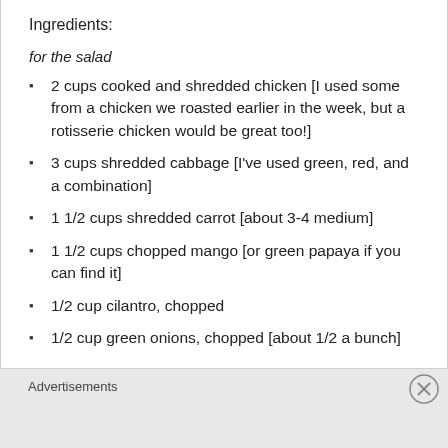Ingredients:
for the salad
2 cups cooked and shredded chicken [I used some from a chicken we roasted earlier in the week, but a rotisserie chicken would be great too!]
3 cups shredded cabbage [I've used green, red, and a combination]
1 1/2 cups shredded carrot [about 3-4 medium]
1 1/2 cups chopped mango [or green papaya if you can find it]
1/2 cup cilantro, chopped
1/2 cup green onions, chopped [about 1/2 a bunch]
Advertisements